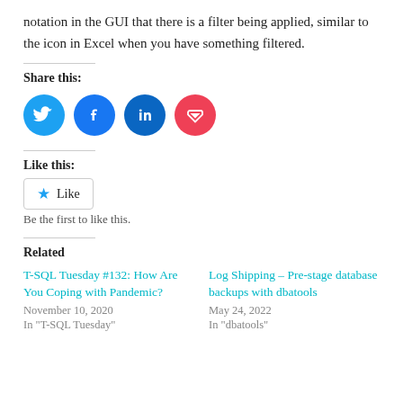notation in the GUI that there is a filter being applied, similar to the icon in Excel when you have something filtered.
Share this:
[Figure (infographic): Four social sharing icons in circles: Twitter (blue), Facebook (dark blue), LinkedIn (dark blue), Pocket (red)]
Like this:
Like button widget
Be the first to like this.
Related
T-SQL Tuesday #132: How Are You Coping with Pandemic?
November 10, 2020
In "T-SQL Tuesday"
Log Shipping – Pre-stage database backups with dbatools
May 24, 2022
In "dbatools"